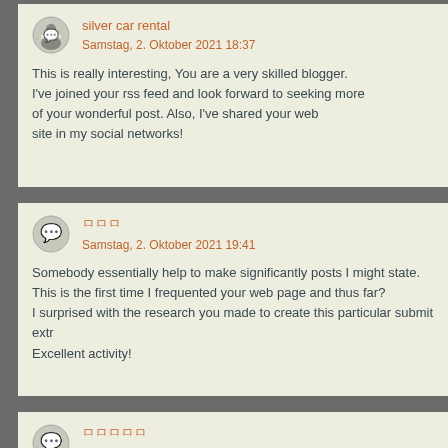silver car rental
Samstag, 2. Oktober 2021 18:37
This is really interesting, You are a very skilled blogger. I've joined your rss feed and look forward to seeking more of your wonderful post. Also, I've shared your web site in my social networks!
ㅁㅁㅁ
Samstag, 2. Oktober 2021 19:41
Somebody essentially help to make significantly posts I might state. This is the first time I frequented your web page and thus far? I surprised with the research you made to create this particular submit extr Excellent activity!
ㅁㅁㅁㅁㅁ
Sonntag, 3. Oktober 2021 1:00
Hi, I do think your site could be having browser compatibility issues. When I take a look at your website in Safari, it looks fine however when opening in Internet Explorer, it's got some overlapping issu I merely wanted to give you a quick heads up! Other than that, great webs